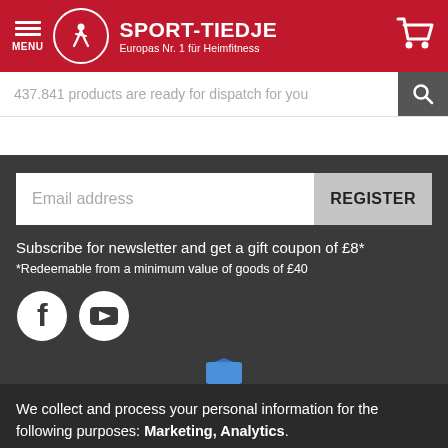SPORT-TIEDJE – Europas Nr. 1 für Heimfitness
437.841 products are ready for dispatch for you
Email address
REGISTER
Subscribe for newsletter and get a gift coupon of £8*
*Redeemable from a minimum value of goods of £40
[Figure (logo): Facebook and YouTube social media icons]
We collect and process your personal information for the following purposes: Marketing, Analytics.
Decline   Accept all   Customize...